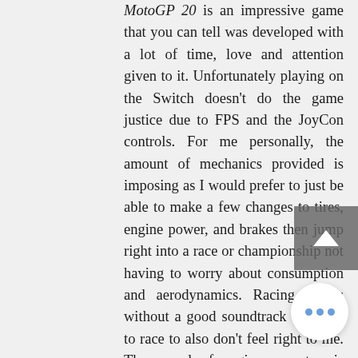MotoGP 20 is an impressive game that you can tell was developed with a lot of time, love and attention given to it. Unfortunately playing on the Switch doesn't do the game justice due to FPS and the JoyCon controls. For me personally, the amount of mechanics provided is imposing as I would prefer to just be able to make a few changes to tires, engine power, and brakes then jump right into a race or championship not having to worry about consumption and aerodynamics. Racing games without a good soundtrack of songs to race to also don't feel right to me. The sound of engines nonstop is unappealing and the game will almost always be on mute. With that said are into motorbike racing and realistic